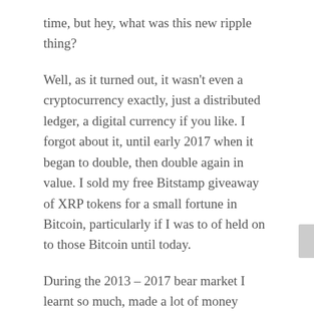time, but hey, what was this new ripple thing?
Well, as it turned out, it wasn't even a cryptocurrency exactly, just a distributed ledger, a digital currency if you like. I forgot about it, until early 2017 when it began to double, then double again in value. I sold my free Bitstamp giveaway of XRP tokens for a small fortune in Bitcoin, particularly if I was to of held on to those Bitcoin until today.
During the 2013 – 2017 bear market I learnt so much, made a lot of money